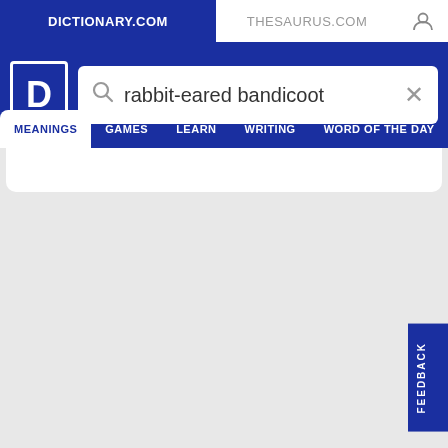DICTIONARY.COM  THESAURUS.COM
rabbit-eared bandicoot
MEANINGS  GAMES  LEARN  WRITING  WORD OF THE DAY
FEEDBACK